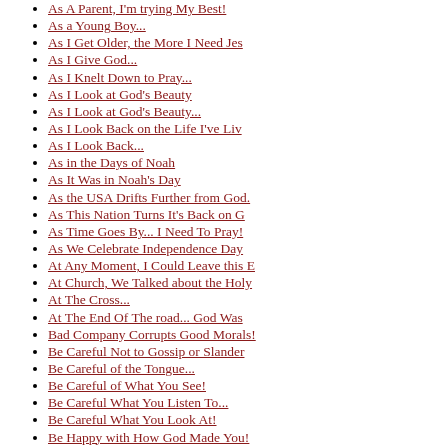As A Parent, I'm trying My Best!
As a Young Boy...
As I Get Older, the More I Need Jes
As I Give God...
As I Knelt Down to Pray...
As I Look at God's Beauty
As I Look at God's Beauty...
As I Look Back on the Life I've Liv
As I Look Back...
As in the Days of Noah
As It Was in Noah's Day
As the USA Drifts Further from God.
As This Nation Turns It's Back on G
As Time Goes By... I Need To Pray!
As We Celebrate Independence Day
At Any Moment, I Could Leave this E
At Church, We Talked about the Holy
At The Cross...
At The End Of The road... God Was
Bad Company Corrupts Good Morals!
Be Careful Not to Gossip or Slander
Be Careful of the Tongue...
Be Careful of What You See!
Be Careful What You Listen To...
Be Careful What You Look At!
Be Happy with How God Made You!
Be Happy With The Family God Gave Y
Be Ready For Jesus!
Be Separate from this World and God
Be With Me, Lord Jesus!